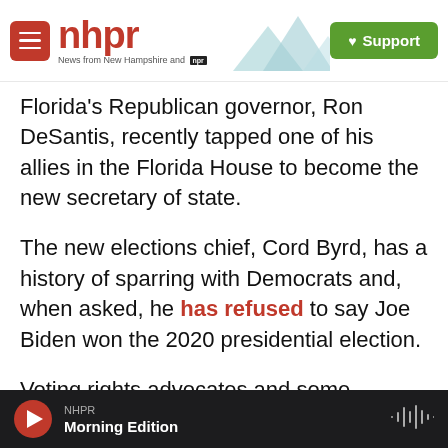nhpr — News from New Hampshire and NPR | Support
Florida's Republican governor, Ron DeSantis, recently tapped one of his allies in the Florida House to become the new secretary of state.
The new elections chief, Cord Byrd, has a history of sparring with Democrats and, when asked, he has refused to say Joe Biden won the 2020 presidential election.
Voting rights advocates and some Democrats in the state say they are worried that Byrd's appointment could make the office less independent.
NHPR — Morning Edition